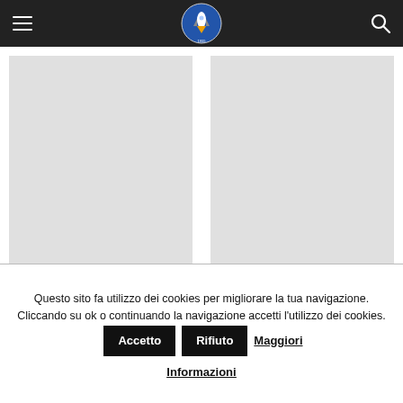Navigation header with menu, logo, and search
Joseph Sciame
Giovanni Pugliese Carratelli
Questo sito fa utilizzo dei cookies per migliorare la tua navigazione. Cliccando su ok o continuando la navigazione accetti l'utilizzo dei cookies. Accetto Rifiuto Maggiori Informazioni